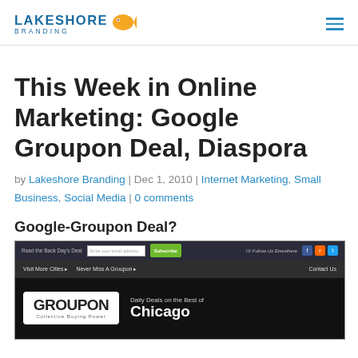LAKESHORE BRANDING [logo with fish icon and hamburger menu]
This Week in Online Marketing: Google Groupon Deal, Diaspora
by Lakeshore Branding | Dec 1, 2010 | Internet Marketing, Small Business, Social Media | 0 comments
Google-Groupon Deal?
[Figure (screenshot): Screenshot of the Groupon website homepage showing the Groupon logo with 'Collective Buying Power' tagline and 'Daily Deals on the Best of Chicago']